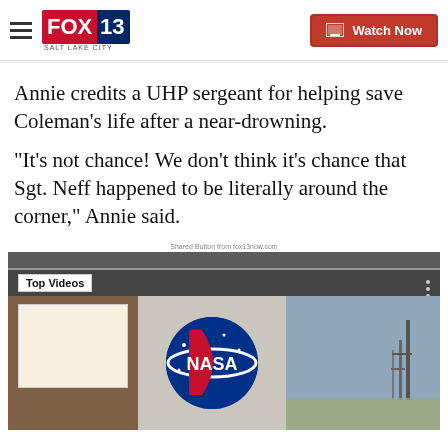FOX 13 Salt Lake City — Watch Now
Annie credits a UHP sergeant for helping save Coleman's life after a near-drowning.
"It's not chance! We don't think it's chance that Sgt. Neff happened to be literally around the corner," Annie said.
Shared Button from fox13now.com
[Figure (screenshot): Video player showing 'Top Videos' panel with NASA logo thumbnail and rocket launch pad in background]